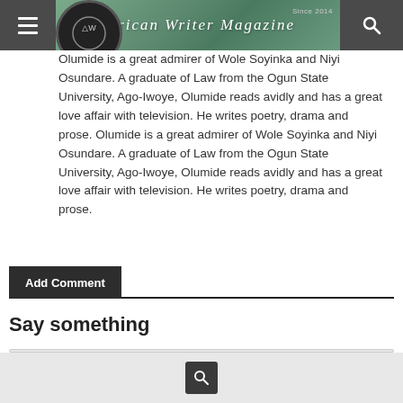African Writer Magazine
Olumide is a great admirer of Wole Soyinka and Niyi Osundare. A graduate of Law from the Ogun State University, Ago-Iwoye, Olumide reads avidly and has a great love affair with television. He writes poetry, drama and prose.
Add Comment
Say something
Enter your comment here...